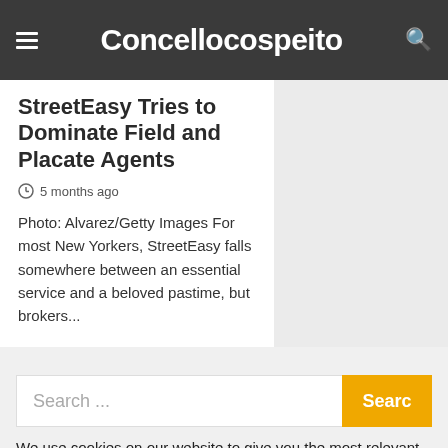Concellocospeito
StreetEasy Tries to Dominate Field and Placate Agents
5 months ago
Photo: Alvarez/Getty Images For most New Yorkers, StreetEasy falls somewhere between an essential service and a beloved pastime, but brokers...
Search ...
We use cookies on our website to give you the most relevant experience by remembering your preferences and repeat